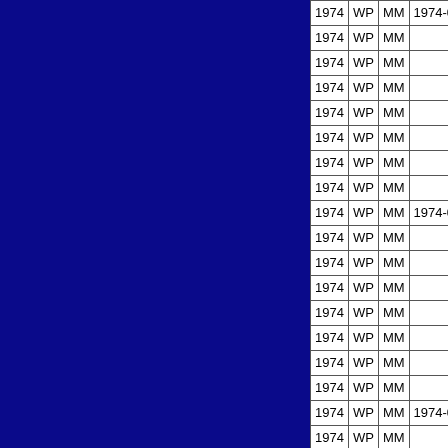| Year | Type | Cat | Date |
| --- | --- | --- | --- |
| 1974 | WP | MM | 1974-08-27 |
| 1974 | WP | MM |  |
| 1974 | WP | MM |  |
| 1974 | WP | MM |  |
| 1974 | WP | MM |  |
| 1974 | WP | MM |  |
| 1974 | WP | MM |  |
| 1974 | WP | MM |  |
| 1974 | WP | MM | 1974-08-28 |
| 1974 | WP | MM |  |
| 1974 | WP | MM |  |
| 1974 | WP | MM |  |
| 1974 | WP | MM |  |
| 1974 | WP | MM |  |
| 1974 | WP | MM |  |
| 1974 | WP | MM |  |
| 1974 | WP | MM | 1974-08-29 |
| 1974 | WP | MM |  |
| 1974 | WP | MM |  |
| 1974 | WP | MM |  |